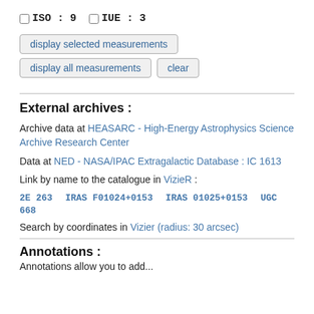ISO : 9   IUE : 3
display selected measurements
display all measurements   clear
External archives :
Archive data at HEASARC - High-Energy Astrophysics Science Archive Research Center
Data at NED - NASA/IPAC Extragalactic Database : IC 1613
Link by name to the catalogue in VizieR :
2E 263   IRAS F01024+0153   IRAS 01025+0153   UGC 668
Search by coordinates in Vizier (radius: 30 arcsec)
Annotations :
Annotations allow you to add...